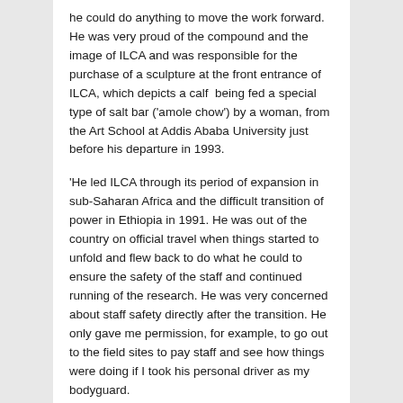he could do anything to move the work forward. He was very proud of the compound and the image of ILCA and was responsible for the purchase of a sculpture at the front entrance of ILCA, which depicts a calf  being fed a special type of salt bar ('amole chow') by a woman, from the Art School at Addis Ababa University just before his departure in 1993.
'He led ILCA through its period of expansion in sub-Saharan Africa and the difficult transition of power in Ethiopia in 1991. He was out of the country on official travel when things started to unfold and flew back to do what he could to ensure the safety of the staff and continued running of the research. He was very concerned about staff safety directly after the transition. He only gave me permission, for example, to go out to the field sites to pay staff and see how things were doing if I took his personal driver as my bodyguard.
'John was very egalitarian and was deeply concerned about the rural poverty in Ethiopia. One year he asked the